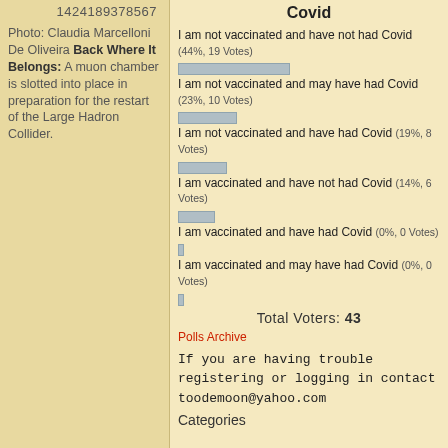1424189378567
Photo: Claudia Marcelloni De Oliveira Back Where It Belongs: A muon chamber is slotted into place in preparation for the restart of the Large Hadron Collider.
Covid
[Figure (bar-chart): Covid]
Total Voters: 43
Polls Archive
If you are having trouble registering or logging in contact toodemoon@yahoo.com
Categories